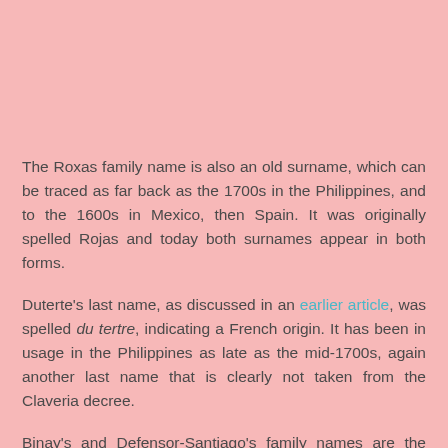The Roxas family name is also an old surname, which can be traced as far back as the 1700s in the Philippines, and to the 1600s in Mexico, then Spain. It was originally spelled Rojas and today both surnames appear in both forms.
Duterte's last name, as discussed in an earlier article, was spelled du tertre, indicating a French origin. It has been in usage in the Philippines as late as the mid-1700s, again another last name that is clearly not taken from the Claveria decree.
Binay's and Defensor-Santiago's family names are the same forms as they were in the past. The Defensor last name appears in pre-1849 records in Iloilo and like many last names in Iloilo appear to be old, pre-Claveria decree. Binay's is the only last name that needs further research, though in its current form it appears to be of indigenous origin and